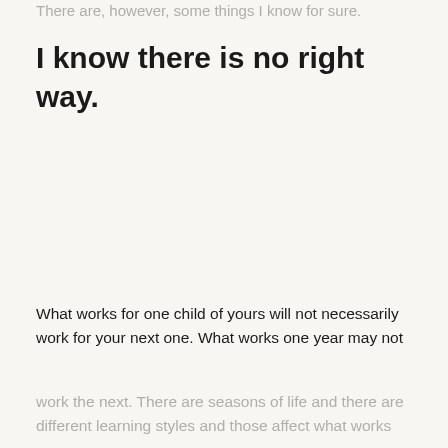There are, however, some things I know for sure.
I know there is no right way.
What works for one child of yours will not necessarily work for your next one. What works one year may not work the next. There are seasons of life and there are different learning styles and those affect what works